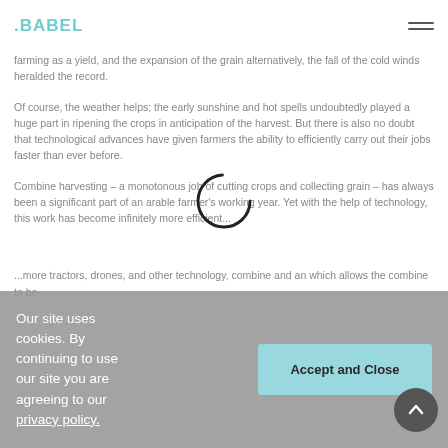.BABEL (logo) with hamburger menu
farming as a yield, and the expansion of the grain alternatively, the fall of the cold winds heralded the record.
Of course, the weather helps; the early sunshine and hot spells undoubtedly played a huge part in ripening the crops in anticipation of the harvest. But there is also no doubt that technological advances have given farmers the ability to efficiently carry out their jobs faster than ever before.
Combine harvesting – a monotonous job of cutting crops and collecting grain – has always been a significant part of an arable farmer's working year. Yet with the help of technology, this work has become infinitely more efficient...
Our site uses cookies. By continuing to use our site you are agreeing to our privacy policy.
...more tractors, drones, and other technology, combine and an which allows the combine to be